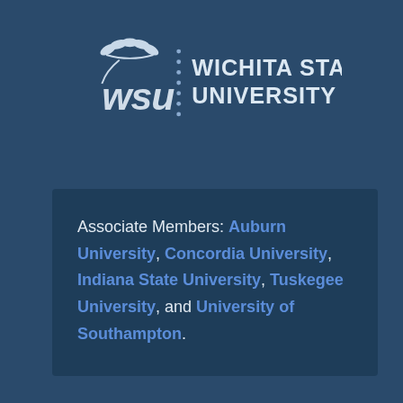[Figure (logo): Wichita State University logo with WSU wheat icon and text 'WICHITA STATE UNIVERSITY' in white on dark blue background]
Associate Members: Auburn University, Concordia University, Indiana State University, Tuskegee University, and University of Southampton.